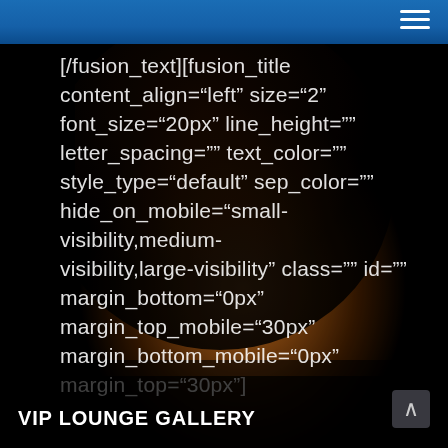[Figure (photo): Dark background photo of a person's face in profile/side view, dimly lit with warm amber/orange tones against a black background, curly hair visible]
Navigation bar with hamburger menu icon
[/fusion_text][fusion_title content_align="left" size="2" font_size="20px" line_height="" letter_spacing="" text_color="" style_type="default" sep_color="" hide_on_mobile="small-visibility,medium-visibility,large-visibility" class="" id="" margin_bottom="0px" margin_top_mobile="30px" margin_bottom_mobile="0px" margin_top="30px"]
VIP LOUNGE GALLERY